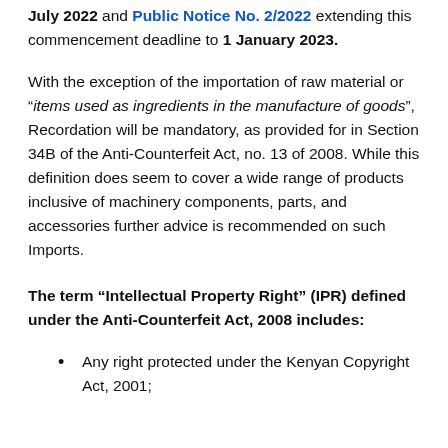July 2022 and Public Notice No. 2/2022 extending this commencement deadline to 1 January 2023.
With the exception of the importation of raw material or "items used as ingredients in the manufacture of goods", Recordation will be mandatory, as provided for in Section 34B of the Anti-Counterfeit Act, no. 13 of 2008. While this definition does seem to cover a wide range of products inclusive of machinery components, parts, and accessories further advice is recommended on such Imports.
The term “Intellectual Property Right” (IPR) defined under the Anti-Counterfeit Act, 2008 includes:
Any right protected under the Kenyan Copyright Act, 2001;